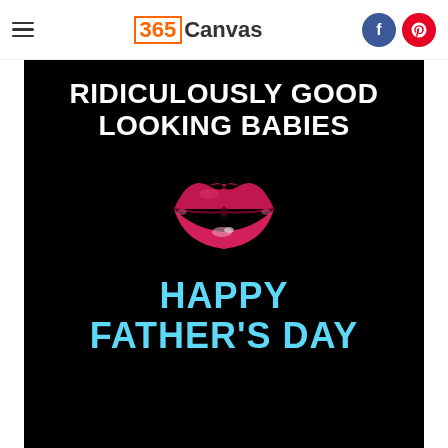365Canvas
[Figure (illustration): Black background canvas print with white bold text 'RIDICULOUSLY GOOD LOOKING BABIES', a pink/magenta lips illustration in the center, and light blue bold text 'HAPPY FATHER'S DAY' below the lips.]